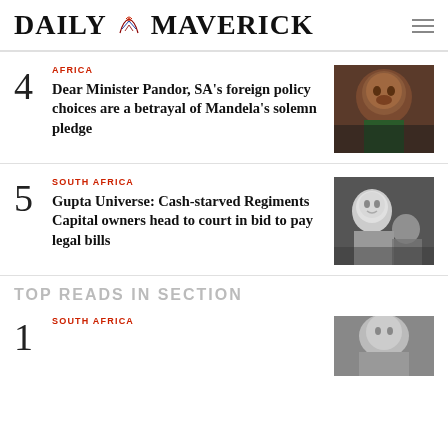DAILY MAVERICK
4 AFRICA — Dear Minister Pandor, SA's foreign policy choices are a betrayal of Mandela's solemn pledge
5 SOUTH AFRICA — Gupta Universe: Cash-starved Regiments Capital owners head to court in bid to pay legal bills
TOP READS IN SECTION
1 SOUTH AFRICA